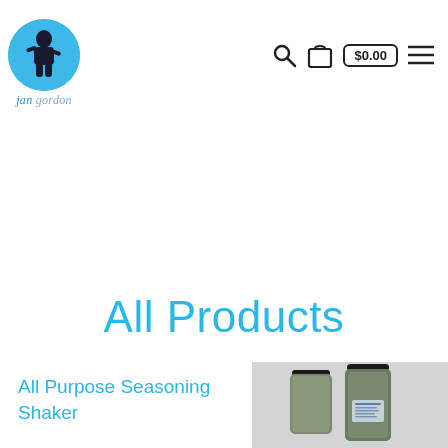jan gordon — logo and navigation with search, cart ($0.00), and menu icons
All Products
All Purpose Seasoning Shaker
[Figure (photo): Two spice shaker jars with black lids containing green seasoning, on a white background]